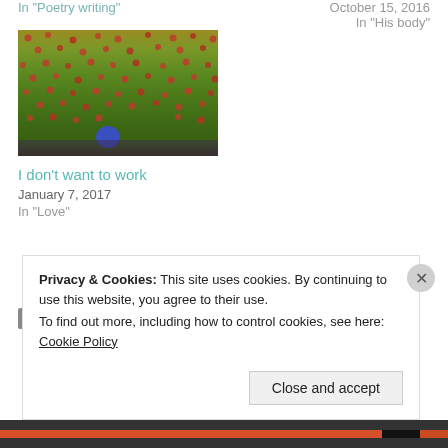In "Poetry writing"
October 15, 2016
In "His body"
[Figure (photo): A field of red and green flowers/plants with a single blue object (ball or hat) visible near the bottom center]
I don't want to work
January 7, 2017
In "Love"
Uncategorized
Privacy & Cookies: This site uses cookies. By continuing to use this website, you agree to their use.
To find out more, including how to control cookies, see here: Cookie Policy
Close and accept